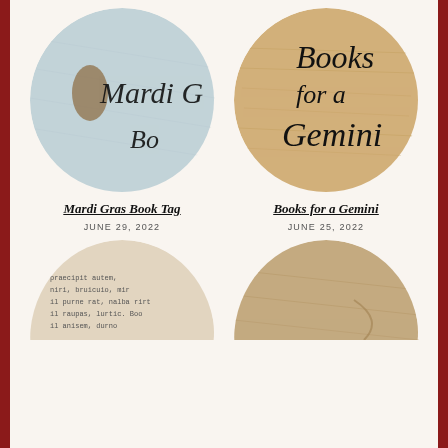[Figure (illustration): Circular image with light blue/grey watercolor background and script text reading 'Mardi G...' and 'Bo' (Mardi Gras Book Tag cover image)]
[Figure (illustration): Circular wooden-textured image with script text reading 'Books for a Gemini']
Mardi Gras Book Tag
JUNE 29, 2022
Books for a Gemini
JUNE 25, 2022
[Figure (illustration): Partial circular image with old book page texture and script text reading 'Dreams I Hold a']
[Figure (illustration): Partial circular image with wooden/map texture and script text reading 'May']